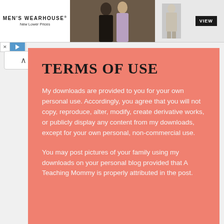[Figure (photo): Men's Wearhouse advertisement banner showing couple in formalwear and a man in gray suit with VIEW button]
TERMS OF USE
My downloads are provided to you for your own personal use. Accordingly, you agree that you will not copy, reproduce, alter, modify, create derivative works, or publicly display any content from my downloads, except for your own personal, non-commercial use.
You may post pictures of your family using my downloads on your personal blog provided that A Teaching Mommy is properly attributed in the post.